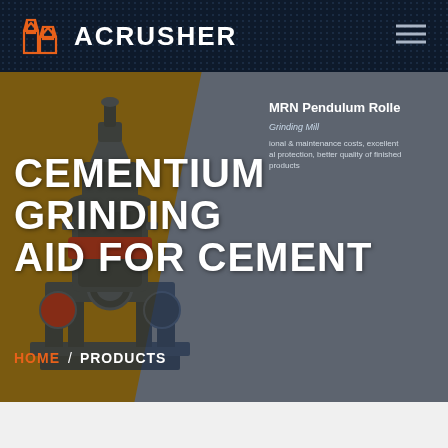ACRUSHER
[Figure (screenshot): Website screenshot showing ACRUSHER brand page header with logo (orange building icon) and hamburger menu on dark navy dotted background]
CEMENTIUM GRINDING AID FOR CEMENT
[Figure (photo): Industrial MRN Pendulum Roller grinding mill machine in dark blue/navy color with red accents, shown against brown background]
MRN Pendulum Rolle
ional & maintenance costs, excellent al protection, better quality of finished products
HOME / PRODUCTS